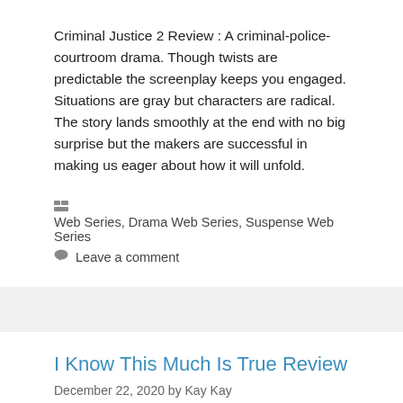Criminal Justice 2 Review : A criminal-police-courtroom drama. Though twists are predictable the screenplay keeps you engaged. Situations are gray but characters are radical. The story lands smoothly at the end with no big surprise but the makers are successful in making us eager about how it will unfold.
🗁 Web Series, Drama Web Series, Suspense Web Series
💬 Leave a comment
I Know This Much Is True Review
December 22, 2020 by Kay Kay